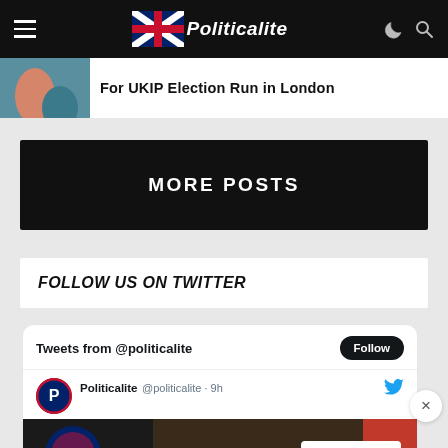Politicalite
For UKIP Election Run in London
MORE POSTS
FOLLOW US ON TWITTER
Tweets from @politicalite
Politicalite @politicalite · 9h